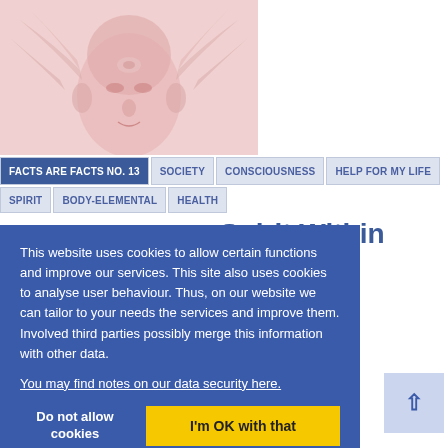[Figure (illustration): Pink/red-tinted pencil sketch of a human face with wings or feathers extending from the sides of the head, viewed frontally against a light background.]
FACTS ARE FACTS NO. 13 | SOCIETY | CONSCIOUSNESS | HELP FOR MY LIFE | SPIRIT | BODY-ELEMENTAL | HEALTH
Spirit Within
...whole life long, we ...eing with its own ...ess. Read more...
This website uses cookies to allow certain functions and improve our services. This site also uses cookies to analyse user behaviour. Thus, on our website we can tailor to your needs the services and improve them. Involved third parties possibly merge this information with other data.
You may find notes on our data security here.
[Figure (photo): Partial view of a colorful bottom strip image, appears to show warm orange/yellow tones, possibly a nature or abstract image.]